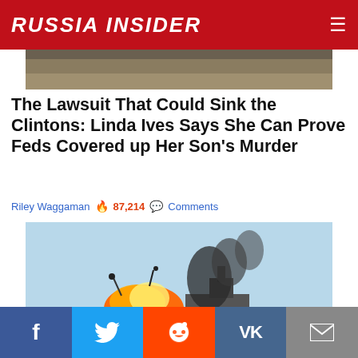RUSSIA INSIDER
[Figure (photo): Partial photo at top, appears to show military equipment or supplies]
The Lawsuit That Could Sink the Clintons: Linda Ives Says She Can Prove Feds Covered up Her Son's Murder
Riley Waggaman 🔥 87,214 💬 Comments
[Figure (photo): Ship on fire at sea, large explosion and smoke visible on the vessel's left side, calm blue ocean water in foreground]
How Long Would the US Navy Survive in a Shooting